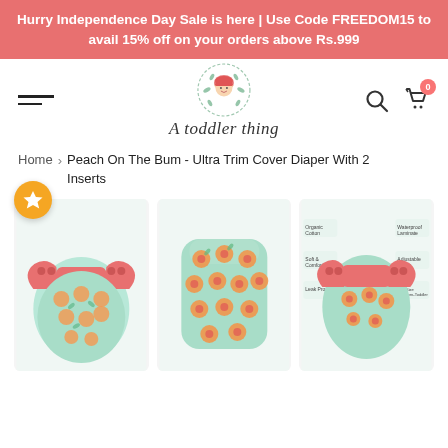Hurry Independence Day Sale is here | Use Code FREEDOM15 to avail 15% off on your orders above Rs.999
[Figure (logo): A toddler thing logo with illustrated baby face in a wreath circle and cursive text below]
Home > Peach On The Bum - Ultra Trim Cover Diaper With 2 Inserts
[Figure (photo): Three product images of a cloth diaper with peach fruit pattern on mint/teal background with coral/pink wings and snap closures]